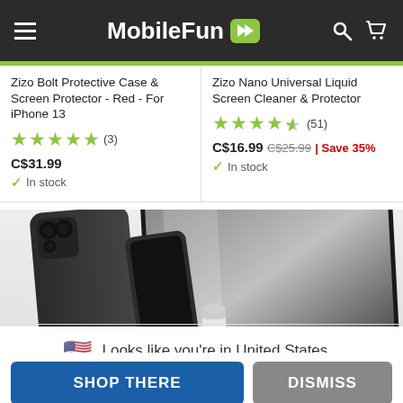MobileFun
Zizo Bolt Protective Case & Screen Protector - Red - For iPhone 13
★★★★★ (3)
C$31.99
✓ In stock
Zizo Nano Universal Liquid Screen Cleaner & Protector
★★★★½ (51)
C$16.99  C$25.99 | Save 35%
✓ In stock
[Figure (photo): Product photo showing a smartphone with screen protector accessories including a dark phone and a white cylindrical applicator]
🇺🇸 Looks like you're in United States...
SHOP THERE
DISMISS